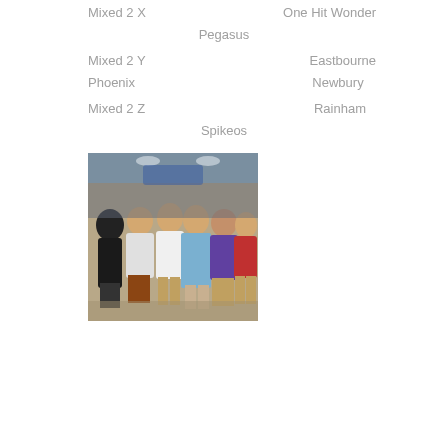Mixed 2 X    One Hit Wonder
Pegasus
Mixed 2 Y    Eastbourne
Phoenix    Newbury
Mixed 2 Z    Rainham
Spikeos
[Figure (photo): Group photo of volleyball players indoors, wearing casual and sport clothing, some with medals]